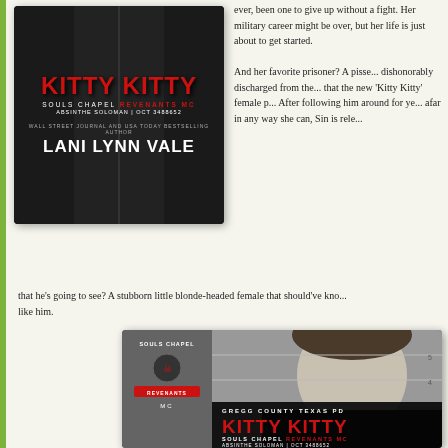[Figure (illustration): Book cover for 'Kitty Kitty' by Lani Lynn Vale, Souls Chapel Revenants MC series, showing title in red on dark background]
ever, been one to give up without a fight. Her military career might be over, but her life is just about to get started. And her favorite prisoner? A pissed-off man dishonorably discharged from the military that the new 'Kitty Kitty' female p... After following him around for years from afar in any way she can, Sin is rele...
that he's going to see? A stubborn little blonde-headed female that should've kno... like him.
[Figure (illustration): Book cover for 'Kitty Kitty' by Absinthe Soloman, Souls Chapel Revenants MC, Gregg County Texas PD, showing male mugshot photo with red title text]